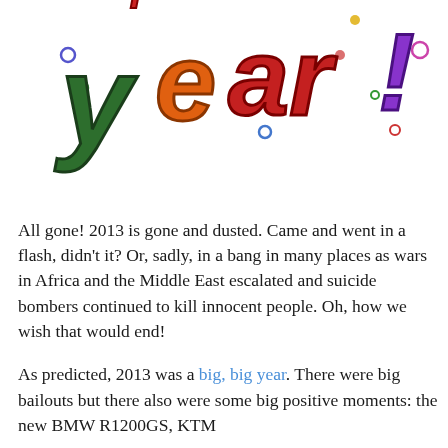[Figure (illustration): Colorful hand-drawn illustration of the word 'year!' in large decorative letters with various colors (green, orange, red, blue, purple) and small colored dots/confetti scattered around, suggesting a Happy New Year celebration. The top portion of additional text is partially visible above.]
All gone! 2013 is gone and dusted. Came and went in a flash, didn't it? Or, sadly, in a bang in many places as wars in Africa and the Middle East escalated and suicide bombers continued to kill innocent people. Oh, how we wish that would end!
As predicted, 2013 was a big, big year. There were big bailouts but there also were some big positive moments: the new BMW R1200GS, KTM